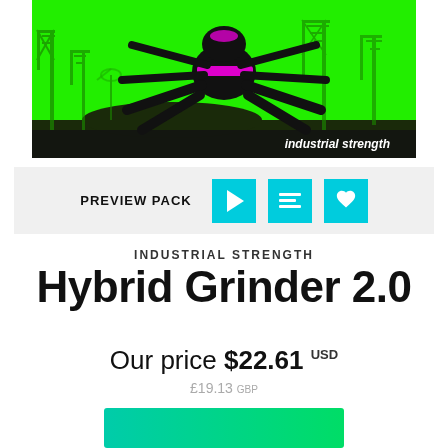[Figure (illustration): Illustration of a dark robotic spider creature with magenta/pink highlights, silhouetted against a bright green background with industrial crane structures. Text 'industrial strength' in white at bottom right.]
PREVIEW PACK
INDUSTRIAL STRENGTH
Hybrid Grinder 2.0
Our price $22.61 USD
£19.13 GBP